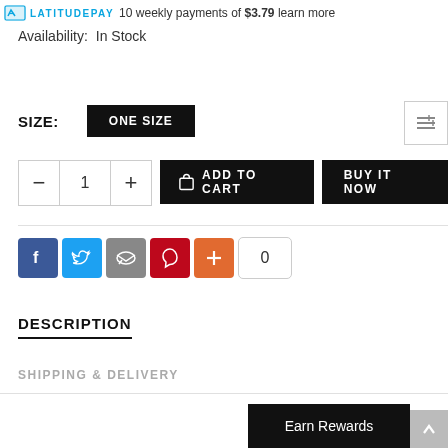LatitudePay 10 weekly payments of $3.79 learn more
Availability: In Stock
SIZE: ONE SIZE
[Figure (other): Quantity selector with minus, 1, plus buttons; ADD TO CART button; BUY IT NOW button]
[Figure (other): Social share icons: Facebook, Twitter, Email, Pinterest, Plus button, count 0]
DESCRIPTION
SHIPPING & DELIVERY
Earn Rewards